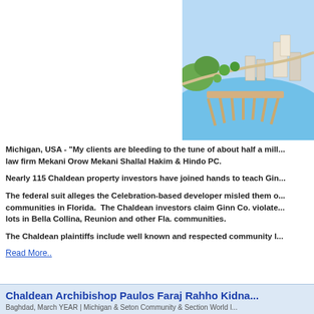[Figure (illustration): Aerial illustration of a coastal/waterfront development community with marina, docks, residential buildings, and green spaces.]
Michigan, USA - "My clients are bleeding to the tune of about half a mill... law firm Mekani Orow Mekani Shallal Hakim & Hindo PC.
Nearly 115 Chaldean property investors have joined hands to teach Gin...
The federal suit alleges the Celebration-based developer misled them o... communities in Florida.  The Chaldean investors claim Ginn Co. violate... lots in Bella Collina, Reunion and other Fla. communities.
The Chaldean plaintiffs include well known and respected community l...
Read More..
Chaldean Archibishop Paulos Faraj Rahho Kidna...
Baghdad, March YEAR | Michigan & Seton Community & Section World l...